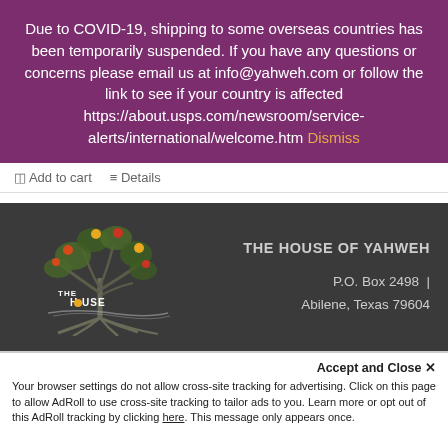Due to COVID-19, shipping to some overseas countries has been temporarily suspended. If you have any questions or concerns please email us at info@yahweh.com or follow the link to see if your country is affected https://about.usps.com/newsroom/service-alerts/international/welcome.htm Dismiss
Add to cart  Details
[Figure (logo): The House of Yahweh logo — stylized tree with fruit on dark background]
THE HOUSE OF YAHWEH
P.O. Box 2498  |  Abilene, Texas 79604
Accept and Close ×
Your browser settings do not allow cross-site tracking for advertising. Click on this page to allow AdRoll to use cross-site tracking to tailor ads to you. Learn more or opt out of this AdRoll tracking by clicking here. This message only appears once.